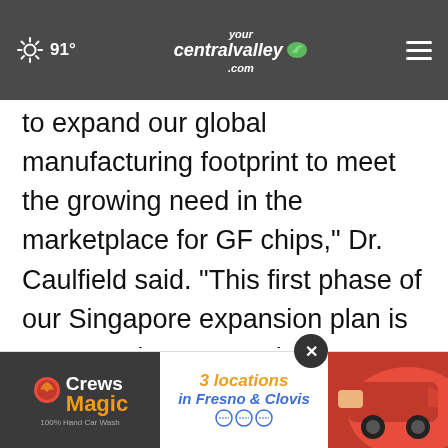91° yourcentralvalley.com
to expand our global manufacturing footprint to meet the growing need in the marketplace for GF chips," Dr. Caulfield said. "This first phase of our Singapore expansion plan is a tremendous example of strong partnerships driving our industry forward. This first tool moved into our facility was incredible to witness and is a harbinger of more great milestones on the horizon for GF."
"We a... chosen Singapore for a major expansion of its
[Figure (screenshot): Advertisement banner: Crews Magic 100% Hand Car Wash, 3 locations in Fresno & Clovis, with car image on right]